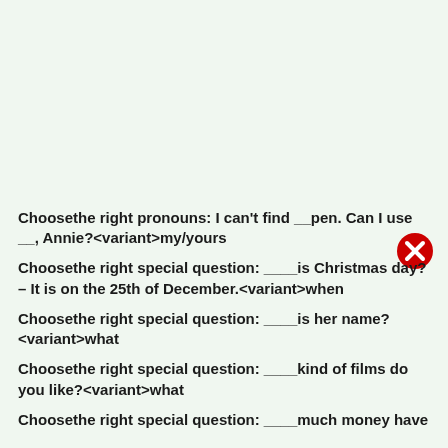Choosethe right pronouns: I can't find __pen. Can I use __, Annie?<variant>my/yours
Choosethe right special question: ____is Christmas day? – It is on the 25th of December.<variant>when
Choosethe right special question: ____is her name? <variant>what
Choosethe right special question: ____kind of films do you like?<variant>what
Choosethe right special question: ____much money have